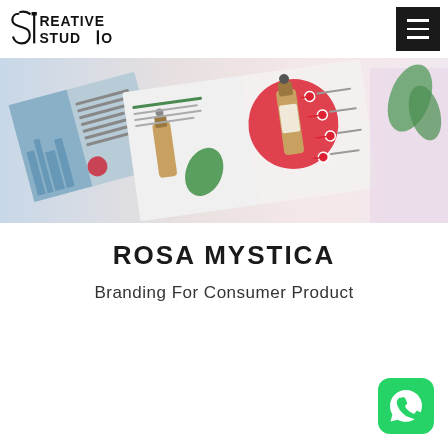SREATIVE STUDIO
[Figure (photo): Hero banner showing printed branding materials for Rosa Mystica consumer product, including brochure pages with product images, oil dropper bottles, and infographic elements on pink, blue and white backgrounds]
ROSA MYSTICA
Branding For Consumer Product
[Figure (logo): WhatsApp green rounded square icon with white phone handset logo]